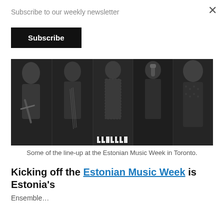Subscribe to our weekly newsletter
Subscribe
[Figure (photo): Black and white collage of five musicians performing: a bearded man playing violin, a person playing cello, a woman in a patterned dress, a woman singing into a microphone, and a smiling man in a patterned shirt.]
Some of the line-up at the Estonian Music Week in Toronto.
Kicking off the Estonian Music Week is Estonia's
Ensemble...